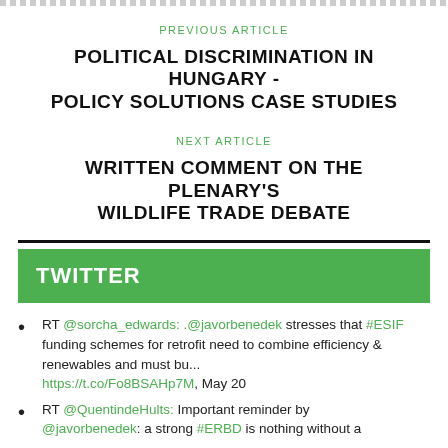PREVIOUS ARTICLE
POLITICAL DISCRIMINATION IN HUNGARY - POLICY SOLUTIONS CASE STUDIES
NEXT ARTICLE
WRITTEN COMMENT ON THE PLENARY'S WILDLIFE TRADE DEBATE
TWITTER
RT @sorcha_edwards: .@javorbenedek stresses that #ESIF funding schemes for retrofit need to combine efficiency & renewables and must bu... https://t.co/Fo8BSAHp7M, May 20
RT @QuentindeHults: Important reminder by @javorbenedek: a strong #ERBD is nothing without a